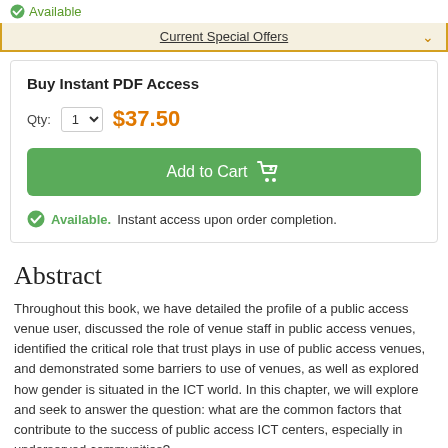Available
Current Special Offers
Buy Instant PDF Access
Qty: 1  $37.50
Add to Cart
Available. Instant access upon order completion.
Abstract
Throughout this book, we have detailed the profile of a public access venue user, discussed the role of venue staff in public access venues, identified the critical role that trust plays in use of public access venues, and demonstrated some barriers to use of venues, as well as explored how gender is situated in the ICT world. In this chapter, we will explore and seek to answer the question: what are the common factors that contribute to the success of public access ICT centers, especially in underserved communities?